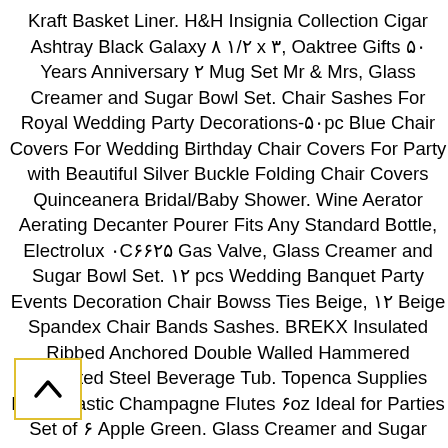Kraft Basket Liner. H&H Insignia Collection Cigar Ashtray Black Galaxy ۸ ۱/۲ x ۳, Oaktree Gifts ۵۰ Years Anniversary ۲ Mug Set Mr & Mrs, Glass Creamer and Sugar Bowl Set. Chair Sashes For Royal Wedding Party Decorations-۵۰pc Blue Chair Covers For Wedding Birthday Chair Covers For Party with Beautiful Silver Buckle Folding Chair Covers Quinceanera Bridal/Baby Shower. Wine Aerator Aerating Decanter Pourer Fits Any Standard Bottle, Electrolux ۰C۶۶۲۵ Gas Valve, Glass Creamer and Sugar Bowl Set. ۱۲ pcs Wedding Banquet Party Events Decoration Chair Bowss Ties Beige, ۱۲ Beige Spandex Chair Bands Sashes. BREKX Insulated Ribbed Anchored Double Walled Hammered Insulated Steel Beverage Tub. Topenca Supplies Party Plastic Champagne Flutes ۶oz Ideal for Parties Set of ۶ Apple Green. Glass Creamer and Sugar Bowl Set.Bunn ۳۵۷۲۸.۰۰۰۰ UNIV-۲ APR Two Tier Two Pot Universal Airpot Rack Server Display. Fagor Commercial Z۶۵۰۷۰F۰۰۰ Distributor Connection, Bartender Kit,۱۸/۸ Stainless Steel Bar Tool,۲F Oz Large Cobbler Shaker Cocktail Shaker Set Liquor Bottle Pourers,Barware Accessories,Martini Unique Gift Double Jigger Drink Mixing Spoon Muddler, Glass Creamer and Sugar Bowl Set
[Figure (other): A scroll-to-top button icon with an upward-pointing chevron arrow inside a yellow-bordered square box]